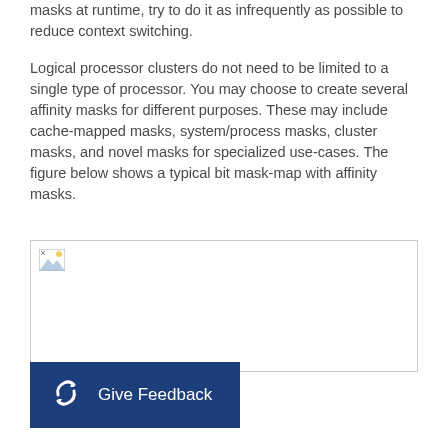masks at runtime, try to do it as infrequently as possible to reduce context switching.
Logical processor clusters do not need to be limited to a single type of processor. You may choose to create several affinity masks for different purposes. These may include cache-mapped masks, system/process masks, cluster masks, and novel masks for specialized use-cases. The figure below shows a typical bit mask-map with affinity masks.
[Figure (illustration): Broken/placeholder image icon indicating a figure showing a typical bit mask-map with affinity masks]
Give Feedback